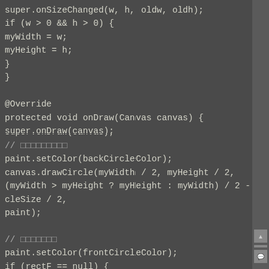super.onSizeChanged(w, h, oldw, oldh);
if (w > 0 && h > 0) {
myWidth = w;
myHeight = h;
}
}

@Override
protected void onDraw(Canvas canvas) {
super.onDraw(canvas);
// □□□□□□□□□
paint.setColor(backCircleColor);
canvas.drawCircle(myWidth / 2, myHeight / 2,
(myWidth > myHeight ? myHeight : myWidth) / 2 - cir
cleSize / 2,
paint);

// □□□□□□□
paint.setColor(frontCircleColor);
if (rectF == null) {
rectF = new RectF();
}